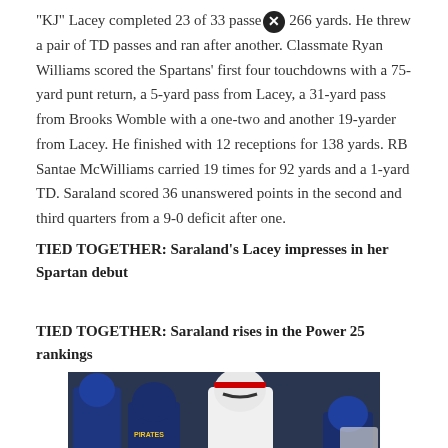"KJ" Lacey completed 23 of 33 passes for 266 yards. He threw a pair of TD passes and ran after another. Classmate Ryan Williams scored the Spartans' first four touchdowns with a 75-yard punt return, a 5-yard pass from Lacey, a 31-yard pass from Brooks Womble with a one-two and another 19-yarder from Lacey. He finished with 12 receptions for 138 yards. RB Santae McWilliams carried 19 times for 92 yards and a 1-yard TD. Saraland scored 36 unanswered points in the second and third quarters from a 9-0 deficit after one.
TIED TOGETHER: Saraland's Lacey impresses in her Spartan debut
TIED TOGETHER: Saraland rises in the Power 25 rankings
[Figure (photo): Football game action photo showing a player in white jersey running with the ball, pursued by players in dark blue (Pirates) jerseys including #75, with a referee visible in the background.]